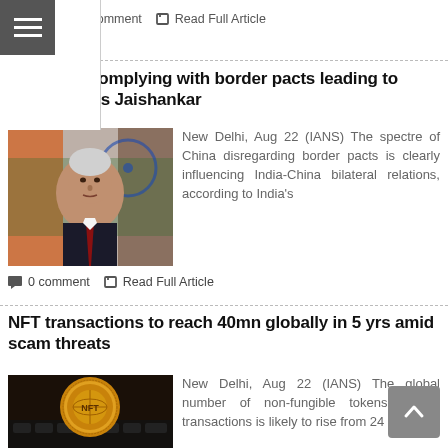0 comment   Read Full Article
China not complying with border pacts leading to friction, says Jaishankar
[Figure (photo): Photo of S. Jaishankar in front of Indian flags]
New Delhi, Aug 22 (IANS) The spectre of China disregarding border pacts is clearly influencing India-China bilateral relations, according to India's
0 comment   Read Full Article
NFT transactions to reach 40mn globally in 5 yrs amid scam threats
[Figure (photo): Photo of a coin with NFT non-fungible token branding on a keyboard]
New Delhi, Aug 22 (IANS) The global number of non-fungible tokens (NFTs) transactions is likely to rise from 24 million in